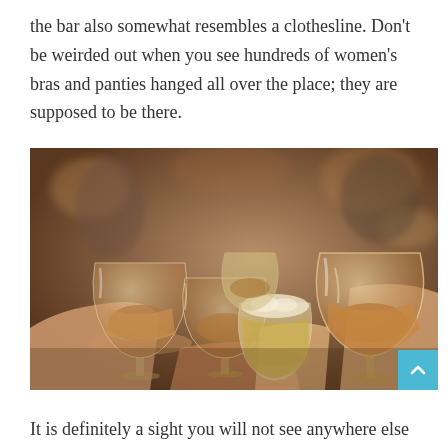the bar also somewhat resembles a clothesline. Don't be weirded out when you see hundreds of women's bras and panties hanged all over the place; they are supposed to be there.
[Figure (photo): Several people clinking glasses of beer and wine drinks together in a toast, close-up photo with bokeh background.]
It is definitely a sight you will not see anywhere else